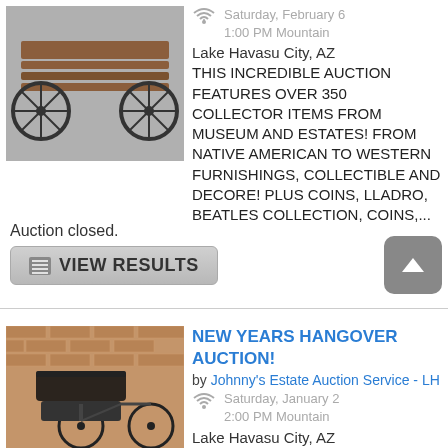[Figure (photo): Photo of a rustic wooden bench with wagon wheel arms/legs on a grey background]
Saturday, February 6
1:00 PM Mountain
Lake Havasu City,  AZ
THIS INCREDIBLE AUCTION FEATURES OVER 350 COLLECTOR ITEMS FROM MUSEUM AND ESTATES! FROM NATIVE AMERICAN TO WESTERN FURNISHINGS, COLLECTIBLE AND DECORE! PLUS COINS, LLADRO, BEATLES COLLECTION, COINS,...
Auction closed.
VIEW RESULTS
[Figure (photo): Photo of a pedicab / rickshaw bicycle with black canopy against a brick wall background]
NEW YEARS HANGOVER AUCTION!
by Johnny's Estate Auction Service - LH
Saturday, January 2
2:00 PM Mountain
Lake Havasu City,  AZ
THIS IS AN INCREDIBLE AUCTION WITH TONS OF AMAZING COLLECTOR ITEMS! FROM AN ORIGINAL 1947 VICTORY PEDICAR TO ROBOTICS AND